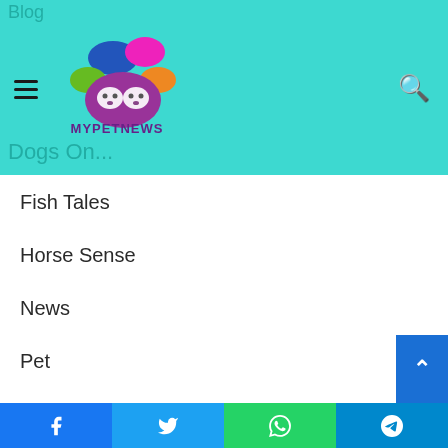[Figure (logo): MyPetNews logo with colorful speech bubbles and dog faces, teal header background with hamburger menu and search icon]
Fish Tales
Horse Sense
News
Pet
Pet Behavior
Pet Breeds
Pet Care
Pet Fitness
Pet Food
Pet Health
Facebook | Twitter | WhatsApp | Telegram